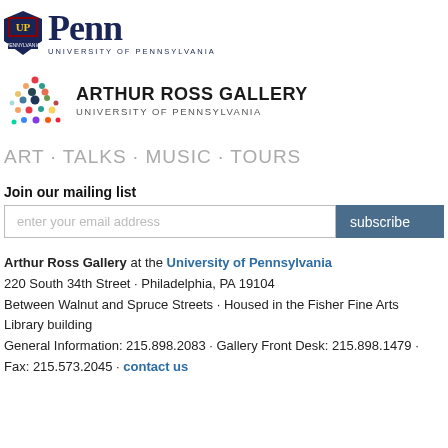[Figure (logo): University of Pennsylvania Penn logo with shield and text]
[Figure (logo): Arthur Ross Gallery University of Pennsylvania logo with colorful dot pattern]
ART · TALKS · MUSIC · TOURS
Join our mailing list
enter your email address
subscribe
Arthur Ross Gallery at the University of Pennsylvania
220 South 34th Street · Philadelphia, PA 19104
Between Walnut and Spruce Streets · Housed in the Fisher Fine Arts Library building
General Information: 215.898.2083 · Gallery Front Desk: 215.898.1479 · Fax: 215.573.2045 · contact us